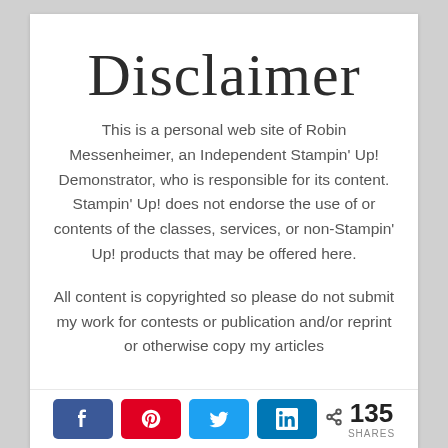Disclaimer
This is a personal web site of Robin Messenheimer, an Independent Stampin' Up! Demonstrator, who is responsible for its content. Stampin' Up! does not endorse the use of or contents of the classes, services, or non-Stampin' Up! products that may be offered here.
All content is copyrighted so please do not submit my work for contests or publication and/or reprint or otherwise copy my articles
[Figure (other): Social share buttons: Facebook, Pinterest, Twitter, LinkedIn, and a share count showing 135 SHARES]